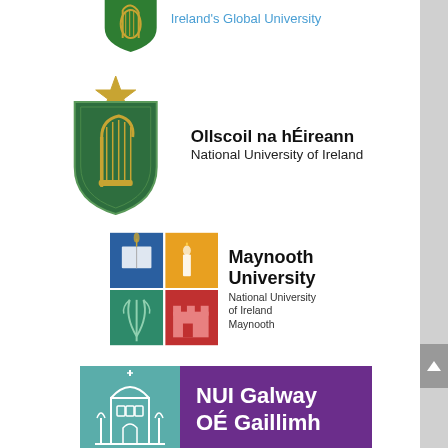[Figure (logo): UCD Dublin - Ireland's Global University logo partially visible at top]
[Figure (logo): Ollscoil na hÉireann / National University of Ireland logo with harp shield and star]
[Figure (logo): Maynooth University / National University of Ireland Maynooth logo with four-square shield]
[Figure (logo): NUI Galway / OÉ Gaillimh logo with teal building icon and purple text box]